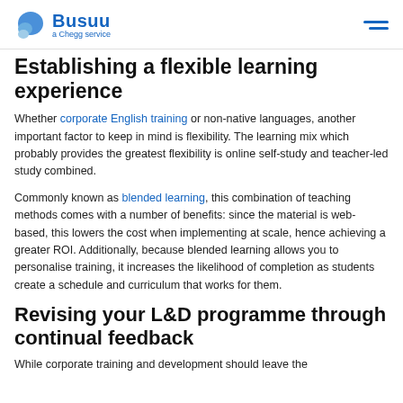Busuu — a Chegg service
Establishing a flexible learning experience
Whether corporate English training or non-native languages, another important factor to keep in mind is flexibility. The learning mix which probably provides the greatest flexibility is online self-study and teacher-led study combined.
Commonly known as blended learning, this combination of teaching methods comes with a number of benefits: since the material is web-based, this lowers the cost when implementing at scale, hence achieving a greater ROI. Additionally, because blended learning allows you to personalise training, it increases the likelihood of completion as students create a schedule and curriculum that works for them.
Revising your L&D programme through continual feedback
While corporate training and development should leave the